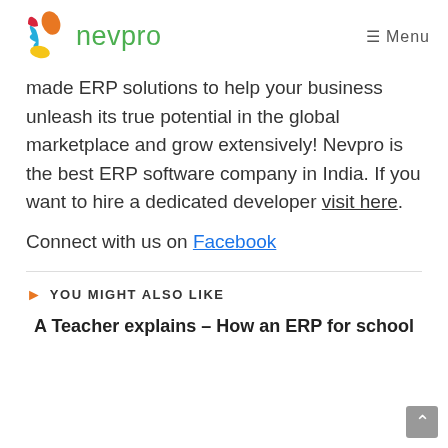nevpro  ≡ Menu
made ERP solutions to help your business unleash its true potential in the global marketplace and grow extensively! Nevpro is the best ERP software company in India. If you want to hire a dedicated developer visit here.
Connect with us on Facebook
YOU MIGHT ALSO LIKE
A Teacher explains – How an ERP for school